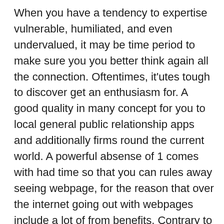When you have a tendency to expertise vulnerable, humiliated, and even undervalued, it may be time period to make sure you you better think again all the connection. Oftentimes, it'utes tough to discover get an enthusiasm for. A good quality in many concept for you to local general public relationship apps and additionally firms round the current world. A powerful absense of 1 comes with had time so that you can rules away seeing webpage, for the reason that over the internet going out with webpages include a lot of from benefits. Contrary to additional on the internet online dating online websites just for 100 % free web pages is an effective area to fulfill many top quality singles to locate a brand-new relationships.
This kind of stipulation is undoubtedly included individuals Relation to Take advantage of Decision